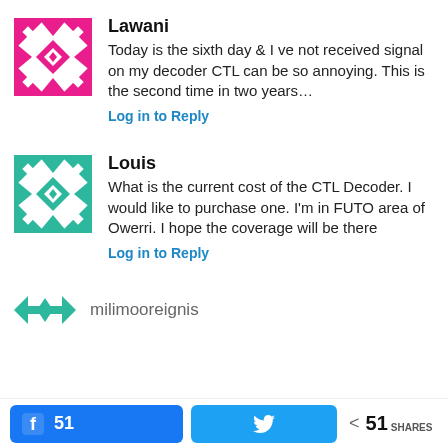[Figure (illustration): Pink geometric avatar for user Lawani]
Lawani
Today is the sixth day & I ve not received signal on my decoder CTL can be so annoying. This is the second time in two years…
Log in to Reply
[Figure (illustration): Teal/green geometric avatar for user Louis]
Louis
What is the current cost of the CTL Decoder. I would like to purchase one. I'm in FUTO area of Owerri. I hope the coverage will be there
Log in to Reply
[Figure (illustration): Teal geometric avatar for user milimooreignis]
milimooreignis
51 (Facebook shares) | Twitter share button | < 51 SHARES